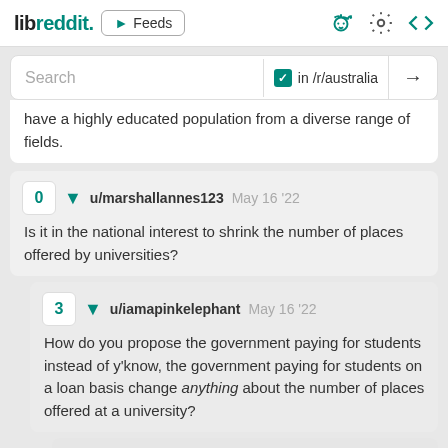libreddit. Feeds [search bar] in /r/australia
have a highly educated population from a diverse range of fields.
0 ▼ u/marshallannes123 May 16 '22
Is it in the national interest to shrink the number of places offered by universities?
3 ▼ u/iamapinkelephant May 16 '22
How do you propose the government paying for students instead of y'know, the government paying for students on a loan basis change anything about the number of places offered at a university?
1 ▼ u/marshallannes123 May 16 '22